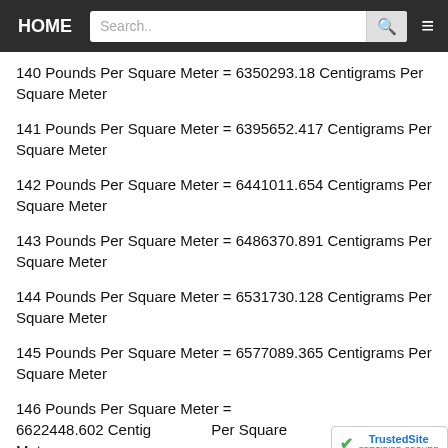HOME | Search..
140 Pounds Per Square Meter = 6350293.18 Centigrams Per Square Meter
141 Pounds Per Square Meter = 6395652.417 Centigrams Per Square Meter
142 Pounds Per Square Meter = 6441011.654 Centigrams Per Square Meter
143 Pounds Per Square Meter = 6486370.891 Centigrams Per Square Meter
144 Pounds Per Square Meter = 6531730.128 Centigrams Per Square Meter
145 Pounds Per Square Meter = 6577089.365 Centigrams Per Square Meter
146 Pounds Per Square Meter = 6622448.602 Centigrams Per Square Meter